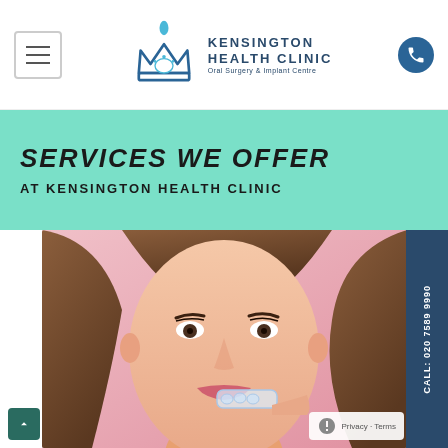Kensington Health Clinic — Oral Surgery & Implant Centre
SERVICES WE OFFER
AT KENSINGTON HEALTH CLINIC
[Figure (photo): Young woman holding a clear dental aligner/retainer up to her mouth against a pink background]
CALL: 020 7589 9990
Privacy · Terms